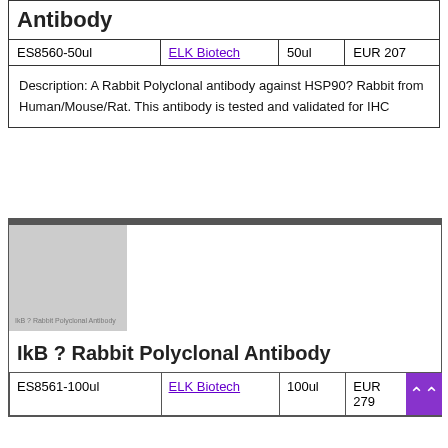| Product | Vendor | Size | Price |
| --- | --- | --- | --- |
| ES8560-50ul | ELK Biotech | 50ul | EUR 207 |
| Description: A Rabbit Polyclonal antibody against HSP90? Rabbit from Human/Mouse/Rat. This antibody is tested and validated for IHC |  |  |  |
[Figure (photo): Thumbnail image placeholder for IkB? Rabbit Polyclonal Antibody product]
IkB ? Rabbit Polyclonal Antibody
| SKU | Vendor | Size | Price |
| --- | --- | --- | --- |
| ES8561-100ul | ELK Biotech | 100ul | EUR 279 |